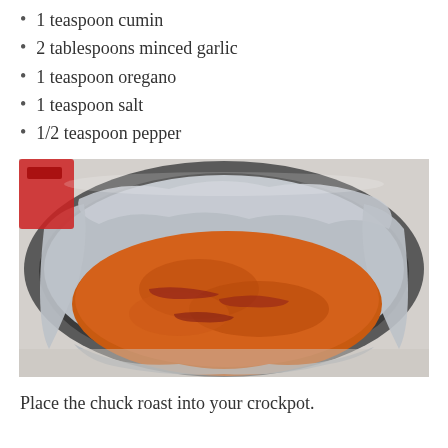1 teaspoon cumin
2 tablespoons minced garlic
1 teaspoon oregano
1 teaspoon salt
1/2 teaspoon pepper
[Figure (photo): A crockpot with a plastic liner bag containing a seasoned chuck roast covered in orange/red sauce, set on a kitchen counter.]
Place the chuck roast into your crockpot.